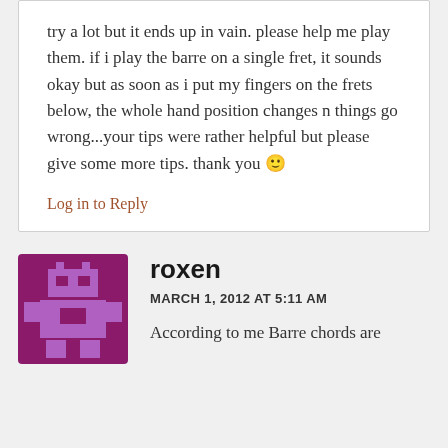try a lot but it ends up in vain. please help me play them. if i play the barre on a single fret, it sounds okay but as soon as i put my fingers on the frets below, the whole hand position changes n things go wrong...your tips were rather helpful but please give some more tips. thank you 🙂
Log in to Reply
[Figure (illustration): Purple/magenta square avatar icon with a pixel-art style robot or character shape in a lighter purple]
roxen
MARCH 1, 2012 AT 5:11 AM
According to me Barre chords are